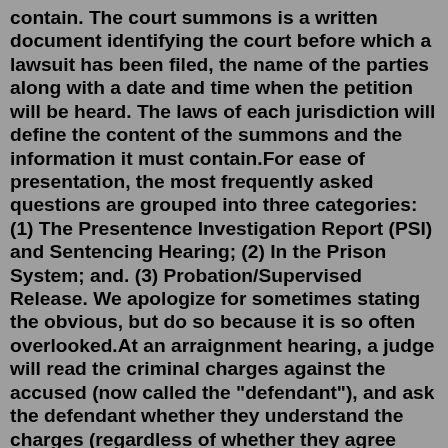contain. The court summons is a written document identifying the court before which a lawsuit has been filed, the name of the parties along with a date and time when the petition will be heard. The laws of each jurisdiction will define the content of the summons and the information it must contain.For ease of presentation, the most frequently asked questions are grouped into three categories: (1) The Presentence Investigation Report (PSI) and Sentencing Hearing; (2) In the Prison System; and. (3) Probation/Supervised Release. We apologize for sometimes stating the obvious, but do so because it is so often overlooked.At an arraignment hearing, a judge will read the criminal charges against the accused (now called the "defendant"), and ask the defendant whether they understand the charges (regardless of whether they agree with them). The defendant will be asked if they have an attorney. If they do not, the court can appoint them a lawyer.DES MOINES, Iowa (AP) — The county attorney prosecuting the case of ten southeast Iowa teens